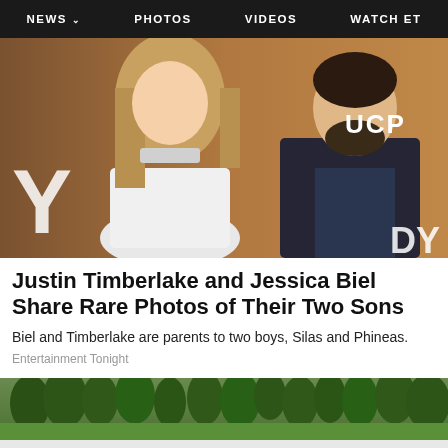NEWS  PHOTOS  VIDEOS  WATCH ET
[Figure (photo): Jessica Biel and Justin Timberlake posing together at what appears to be a red carpet/premiere event with a brown background featuring the letters UCP and DY. Jessica is wearing a white crop top outfit, Justin is wearing a dark patterned suit.]
Justin Timberlake and Jessica Biel Share Rare Photos of Their Two Sons
Biel and Timberlake are parents to two boys, Silas and Phineas.
Entertainment Tonight
[Figure (photo): Landscape photo showing a green golf course or park with trees in the background.]